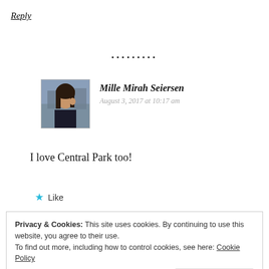Reply
•••••••••
[Figure (photo): Profile photo of Mille Mirah Seiersen, a woman with dark hair in an outdoor urban setting]
Mille Mirah Seiersen
August 3, 2017 at 10:17 am
I love Central Park too!
★ Like
Privacy & Cookies: This site uses cookies. By continuing to use this website, you agree to their use.
To find out more, including how to control cookies, see here: Cookie Policy
Close and accept